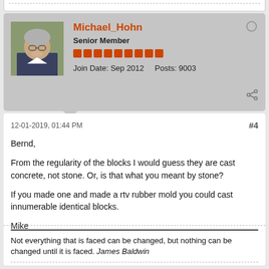Michael_Hohn
Senior Member
Join Date: Sep 2012  Posts: 9003
12-01-2019, 01:44 PM
#4
Bernd,

From the regularity of the blocks I would guess they are cast concrete, not stone. Or, is that what you meant by stone?

If you made one and made a rtv rubber mold you could cast innumerable identical blocks.

Mike
Not everything that is faced can be changed, but nothing can be changed until it is faced. James Baldwin